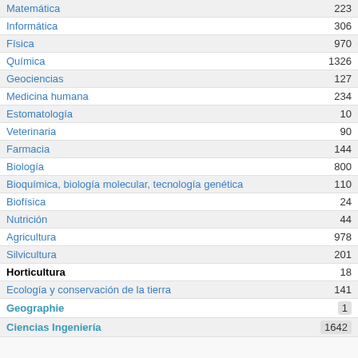| Materia | Cantidad |
| --- | --- |
| Matemática | 223 |
| Informática | 306 |
| Física | 970 |
| Química | 1326 |
| Geociencias | 127 |
| Medicina humana | 234 |
| Estomatología | 10 |
| Veterinaria | 90 |
| Farmacia | 144 |
| Biología | 800 |
| Bioquímica, biología molecular, tecnología genética | 110 |
| Biofísica | 24 |
| Nutrición | 44 |
| Agricultura | 978 |
| Silvicultura | 201 |
| Horticultura | 18 |
| Ecología y conservación de la tierra | 141 |
| Geographie | 1 |
| Ciencias Ingeniería | 1642 |